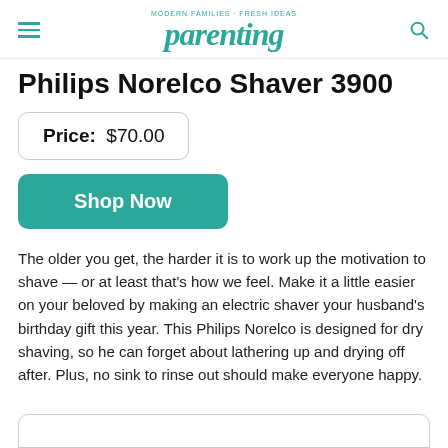parenting — MODERN FAMILIES · FRESH IDEAS
Philips Norelco Shaver 3900
Price: $70.00
Shop Now
The older you get, the harder it is to work up the motivation to shave — or at least that's how we feel. Make it a little easier on your beloved by making an electric shaver your husband's birthday gift this year. This Philips Norelco is designed for dry shaving, so he can forget about lathering up and drying off after. Plus, no sink to rinse out should make everyone happy.